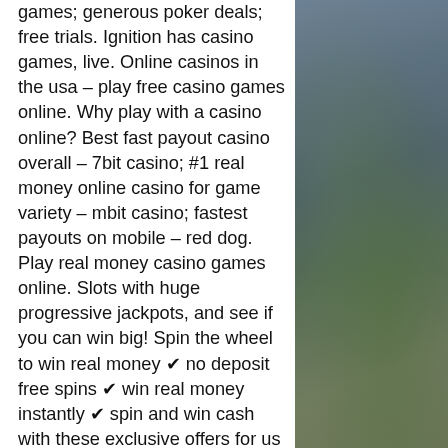games; generous poker deals; free trials. Ignition has casino games, live. Online casinos in the usa – play free casino games online. Why play with a casino online? Best fast payout casino overall – 7bit casino; #1 real money online casino for game variety – mbit casino; fastest payouts on mobile – red dog. Play real money casino games online. Slots with huge progressive jackpots, and see if you can win big! Spin the wheel to win real money ✔ no deposit free spins ✔ win real money instantly ✔ spin and win cash with these exclusive offers for us players! Wa) can access sweepstakes casinos, which you can play for free or cash prizes. Here's a brief look at each state's top online casino and bonus offers. Win real money at no deposit casinos. ✓ no deposit required! ✓ find offers with the best odds to win. ✓ new bonus codes added daily → april 2022. No need to pay for a specialized webinar or online course to learn how to do this.
[Figure (photo): Partially visible decorative background image on the right side of the page, showing a muted green and blue-gray nature or casino-themed scene.]